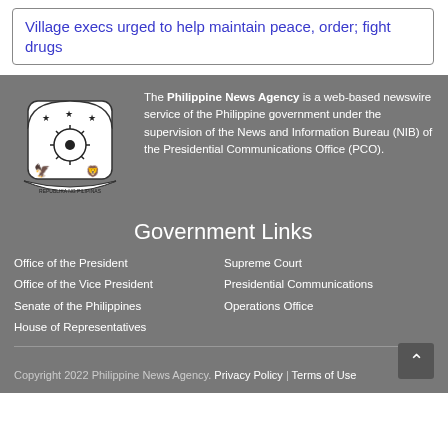Village execs urged to help maintain peace, order; fight drugs
[Figure (logo): Coat of arms of the Philippines – Republika ng Pilipinas seal in black and white]
The Philippine News Agency is a web-based newswire service of the Philippine government under the supervision of the News and Information Bureau (NIB) of the Presidential Communications Office (PCO).
Government Links
Office of the President
Office of the Vice President
Senate of the Philippines
House of Representatives
Supreme Court
Presidential Communications Operations Office
Copyright 2022 Philippine News Agency. Privacy Policy | Terms of Use